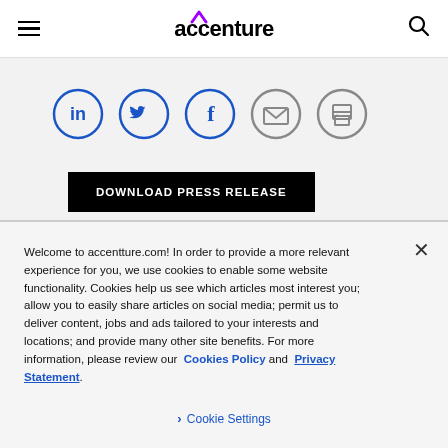accenture
[Figure (illustration): Social media share icons in circles: LinkedIn (blue), Twitter (blue), Facebook (blue), Email (gray), Print (gray)]
DOWNLOAD PRESS RELEASE
Welcome to accentture.com! In order to provide a more relevant experience for you, we use cookies to enable some website functionality. Cookies help us see which articles most interest you; allow you to easily share articles on social media; permit us to deliver content, jobs and ads tailored to your interests and locations; and provide many other site benefits. For more information, please review our Cookies Policy and Privacy Statement.
Cookie Settings